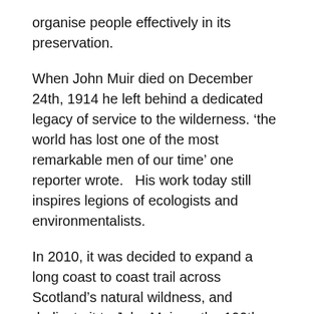organise people effectively in its preservation.
When John Muir died on December 24th, 1914 he left behind a dedicated legacy of service to the wilderness. ‘the world has lost one of the most remarkable men of our time’ one reporter wrote.   His work today still inspires legions of ecologists and environmentalists.
In 2010, it was decided to expand a long coast to coast trail across Scotland’s natural wildness, and dedicate it to John Muir on the 100th anniversary of his death in 2014. Crossing through some of Scotland’s most beautiful wildlife areas, the John Muir Way is a remarkable monument in the memory of a man who fought for nature.